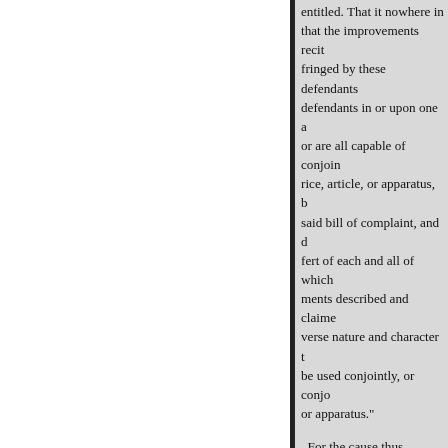entitled. That it nowhere in that the improvements recited fringed by these defendants defendants in or upon one a or are all capable of conjoin rice, article, or apparatus, b said bill of complaint, and d fert of each and all of which ments described and claime verse nature and character t be used conjointly, or conjo or apparatus."
For the cause thus assigne bill adjudged insufficient.
UNION SWITCH & SIGNAL C
(Circuit Court, E. D. Pennsylv
No. 66.